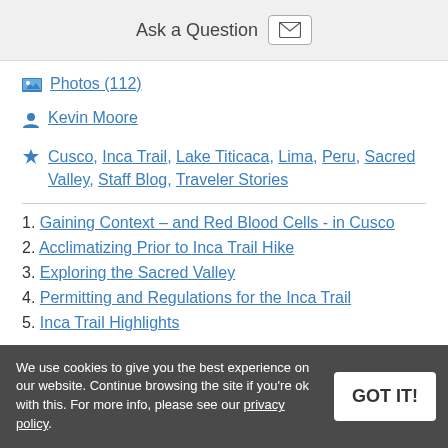Ask a Question
Photos (112)
Kevin Moore
Cusco, Inca Trail, Lake Titicaca, Lima, Peru, Sacred Valley, Staff Blog, Traveler Stories
1. Gaining Context – and Red Blood Cells - in Cusco
2. Acclimatizing Prior to Inca Trail Hike
3. Exploring the Sacred Valley
4. Permitting and Regulations for the Inca Trail
5. Inca Trail Highlights
We use cookies to give you the best experience on our website. Continue browsing the site if you're ok with this. For more info, please see our privacy policy.